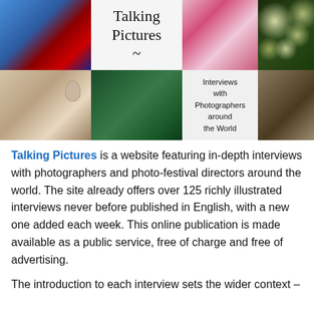[Figure (photo): Collage of 8 photos arranged in a 4x2 grid: Spiderman on rooftop cityscape, 'Talking Pictures' title card, close-up of mouth/lips, glowing orbs in darkness, room with pink chair and ear on wall, underwater aquarium plants, 'Interviews with Photographers around the World' text card, vintage sepia photo of guitarist]
Talking Pictures is a website featuring in-depth interviews with photographers and photo-festival directors around the world. The site already offers over 125 richly illustrated interviews never before published in English, with a new one added each week. This online publication is made available as a public service, free of charge and free of advertising.
The introduction to each interview sets the wider context –